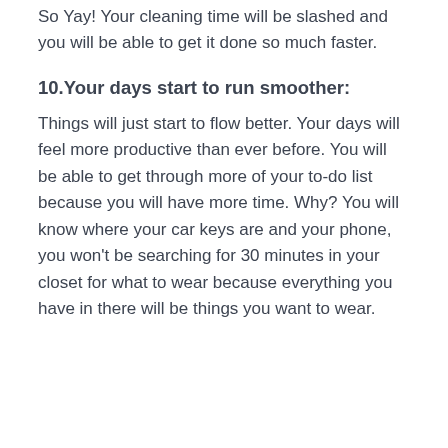So Yay! Your cleaning time will be slashed and you will be able to get it done so much faster.
10.Your days start to run smoother:
Things will just start to flow better. Your days will feel more productive than ever before. You will be able to get through more of your to-do list because you will have more time. Why? You will know where your car keys are and your phone, you won't be searching for 30 minutes in your closet for what to wear because everything you have in there will be things you want to wear.